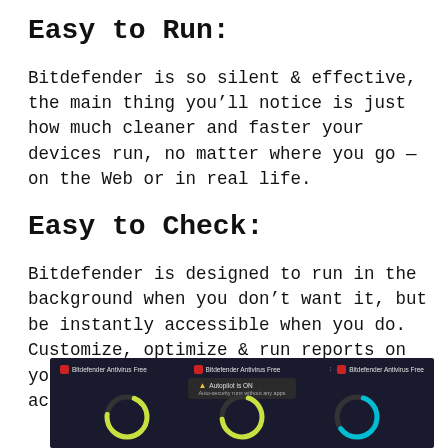Easy to Run:
Bitdefender is so silent & effective, the main thing you’ll notice is just how much cleaner and faster your devices run, no matter where you go — on the Web or in real life.
Easy to Check:
Bitdefender is designed to run in the background when you don’t want it, but be instantly accessible when you do. Customize, optimize & run reports on your entire household from one account.
[Figure (screenshot): Screenshot showing Bitdefender Antivirus Free app notifications on a dark background with circular gauge indicators at the bottom.]